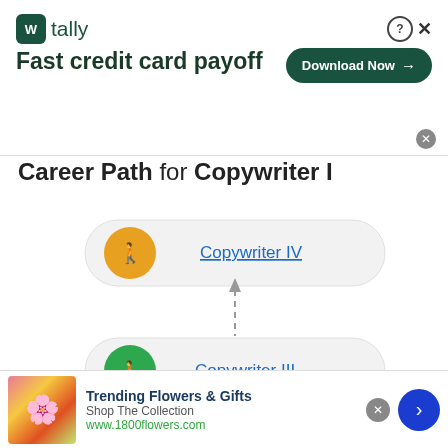[Figure (screenshot): Tally app advertisement banner: logo with 'tally' text and 'Fast credit card payoff' tagline, with 'Download Now' button]
Career Path for Copywriter I
[Figure (flowchart): Flowchart showing career progression with two visible nodes: Copywriter IV (gold icon) and Copywriter III (green icon), connected by dashed upward arrows]
This site uses cookies and other similar technologies to provide site functionality, analyze traffic and usage, and
[Figure (screenshot): Bottom advertisement for Trending Flowers & Gifts from 1800flowers.com with flower bouquet image]